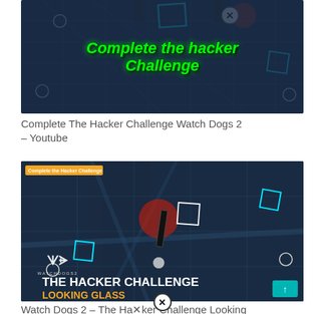[Figure (screenshot): Watch Dogs 2 game screenshot showing a hacker challenge map with green italic bold text reading 'Complete the hacker Challenge' on a dark blue tactical map background with cyan boxes, red glow effects, and a white X button.]
Complete The Hacker Challenge Watch Dogs 2 – Youtube
[Figure (screenshot): Watch Dogs 2 game screenshot showing The Hacker Challenge: Looking Glass mission on a dark blue tactical map. Orange badge 'Complete the Hacker Challenge' in top left. White Watch Dogs 2 logo, white text 'THE HACKER CHALLENGE' and gold text 'LOOKING GLASS' in bottom left. Teal arrow button bottom right.]
Watch Dogs 2 – The Hacker Challenge Looking